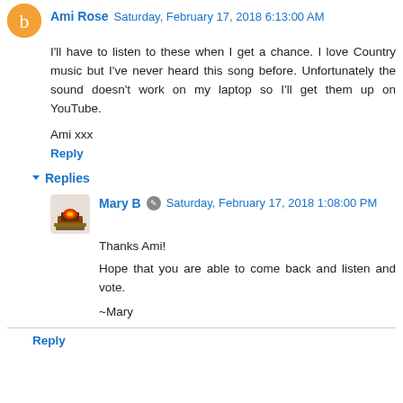Ami Rose  Saturday, February 17, 2018 6:13:00 AM
I'll have to listen to these when I get a chance. I love Country music but I've never heard this song before. Unfortunately the sound doesn't work on my laptop so I'll get them up on YouTube.
Ami xxx
Reply
Replies
Mary B  Saturday, February 17, 2018 1:08:00 PM
Thanks Ami!
Hope that you are able to come back and listen and vote.
~Mary
Reply